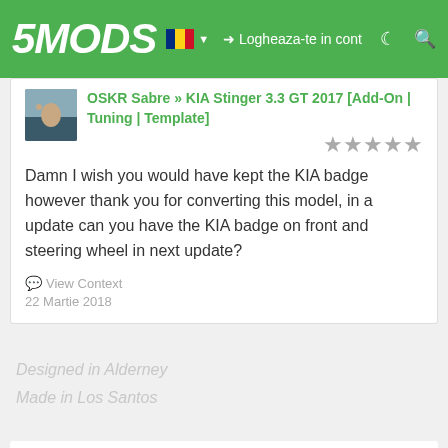5MODS | Logheaza-te in cont
OSKR Sabre » KIA Stinger 3.3 GT 2017 [Add-On | Tuning | Template]
Damn I wish you would have kept the KIA badge however thank you for converting this model, in a update can you have the KIA badge on front and steering wheel in next update?
View Context
22 Martie 2018
Designed in Alderney
Made in Los Santos
We use cookies and other data collection technologies to provide the best experience for our customers. You may request that your data not be shared with third parties here: Do Not Sell My Data.